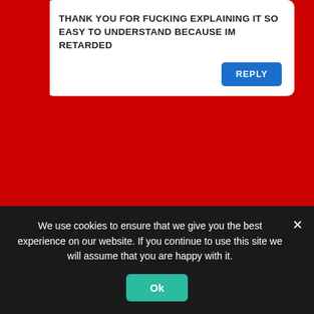THANK YOU FOR FUCKING EXPLAINING IT SO EASY TO UNDERSTAND BECAUSE IM RETARDED
REPLY
THE DUDE
January 13, 2021 @ 11:44 pm
(Modern Techno Music)
We use cookies to ensure that we give you the best experience on our website. If you continue to use this site we will assume that you are happy with it.
Ok